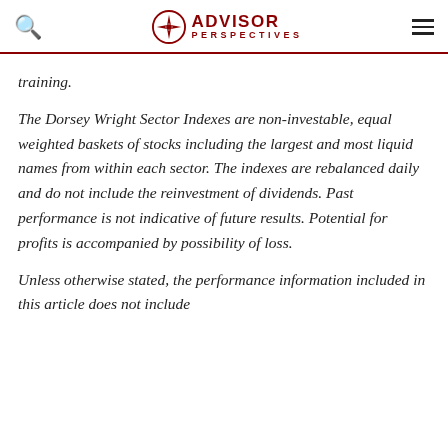ADVISOR PERSPECTIVES
training.
The Dorsey Wright Sector Indexes are non-investable, equal weighted baskets of stocks including the largest and most liquid names from within each sector. The indexes are rebalanced daily and do not include the reinvestment of dividends. Past performance is not indicative of future results. Potential for profits is accompanied by possibility of loss.
Unless otherwise stated, the performance information included in this article does not include